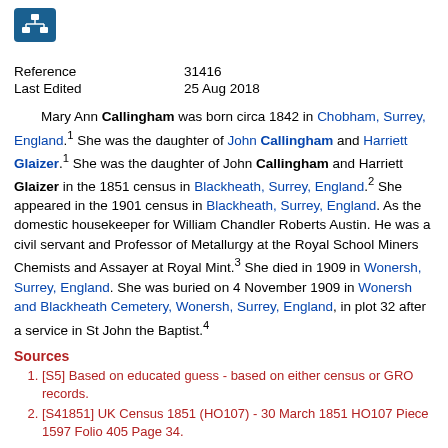[Figure (logo): Blue icon with white person/hierarchy symbol]
| Reference | 31416 |
| Last Edited | 25 Aug 2018 |
Mary Ann Callingham was born circa 1842 in Chobham, Surrey, England.1 She was the daughter of John Callingham and Harriett Glaizer.1 She was the daughter of John Callingham and Harriett Glaizer in the 1851 census in Blackheath, Surrey, England.2 She appeared in the 1901 census in Blackheath, Surrey, England. As the domestic housekeeper for William Chandler Roberts Austin. He was a civil servant and Professor of Metallurgy at the Royal School Miners Chemists and Assayer at Royal Mint.3 She died in 1909 in Wonersh, Surrey, England. She was buried on 4 November 1909 in Wonersh and Blackheath Cemetery, Wonersh, Surrey, England, in plot 32 after a service in St John the Baptist.4
Sources
[S5] Based on educated guess - based on either census or GRO records.
[S41851] UK Census 1851 (HO107) - 30 March 1851 HO107 Piece 1597 Folio 405 Page 34.